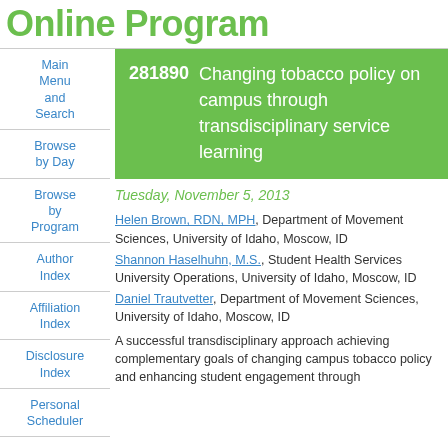Online Program
Main Menu and Search
Browse by Day
Browse by Program
Author Index
Affiliation Index
Disclosure Index
Personal Scheduler
Browse
281890   Changing tobacco policy on campus through transdisciplinary service learning
Tuesday, November 5, 2013
Helen Brown, RDN, MPH, Department of Movement Sciences, University of Idaho, Moscow, ID
Shannon Haselhuhn, M.S., Student Health Services University Operations, University of Idaho, Moscow, ID
Daniel Trautvetter, Department of Movement Sciences, University of Idaho, Moscow, ID
A successful transdisciplinary approach achieving complementary goals of changing campus tobacco policy and enhancing student engagement through service learning has been developed. In the...